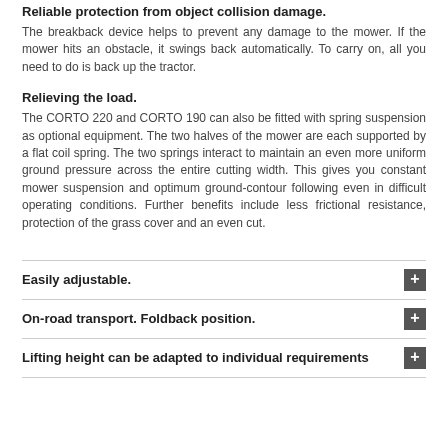Reliable protection from object collision damage.
The breakback device helps to prevent any damage to the mower. If the mower hits an obstacle, it swings back automatically. To carry on, all you need to do is back up the tractor.
Relieving the load.
The CORTO 220 and CORTO 190 can also be fitted with spring suspension as optional equipment. The two halves of the mower are each supported by a flat coil spring. The two springs interact to maintain an even more uniform ground pressure across the entire cutting width. This gives you constant mower suspension and optimum ground-contour following even in difficult operating conditions. Further benefits include less frictional resistance, protection of the grass cover and an even cut.
Easily adjustable.
On-road transport. Foldback position.
Lifting height can be adapted to individual requirements